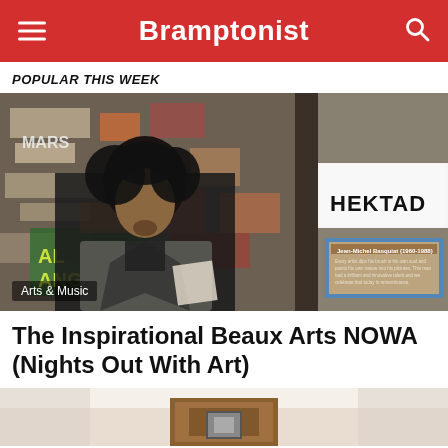Bramptonist
POPULAR THIS WEEK
[Figure (photo): A man with curly hair and a goatee, wearing a grey suit jacket, standing in front of a wall covered in graffiti and stickers including text 'HEKTAD', 'AL ANGR', 'MARS'. A blue-bordered plaque is visible on the right side.]
Arts & Music
The Inspirational Beaux Arts NOWA (Nights Out With Art)
[Figure (photo): Partial view of a light-colored interior with what appears to be a wooden podium or lectern, cropped at the bottom of the page.]